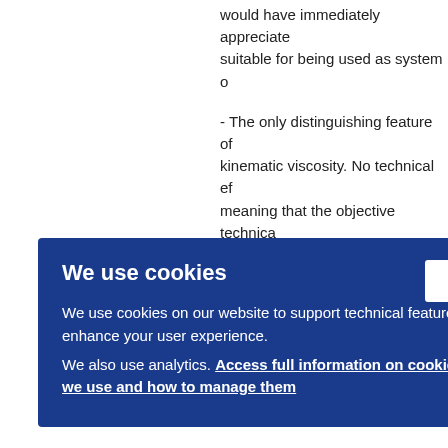would have immediately appreciated suitable for being used as system o
- The only distinguishing feature of kinematic viscosity. No technical ef meaning that the objective technica lubricating oil composition.
- The skilled person would have be D9 to D12 to lower the viscosity of
ne su
gued, ve ste
We use cookies
We use cookies on our website to support technical features that enhance your user experience. We also use analytics. Access full information on cookies that we use and how to manage them